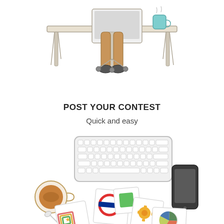[Figure (illustration): Top-down view of a person sitting at a desk with laptop and coffee cup, showing only the desk edge, legs, and chair wheels]
POST YOUR CONTEST
Quick and easy
[Figure (illustration): Top-down flat-lay illustration of a workspace with keyboard, smartphone, coffee cup with spoon, and scattered design cards/logo cards]